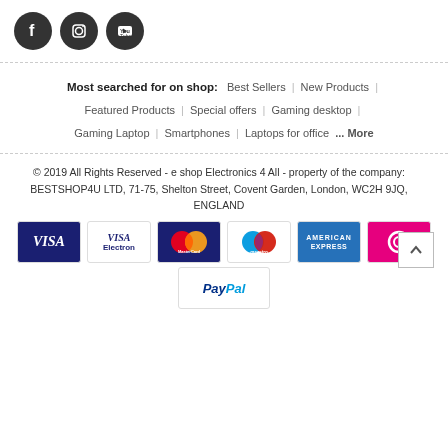[Figure (other): Three circular dark social media icons: Facebook, Instagram, YouTube]
Most searched for on shop: Best Sellers | New Products | Featured Products | Special offers | Gaming desktop | Gaming Laptop | Smartphones | Laptops for office ... More
© 2019 All Rights Reserved - e shop Electronics 4 All - property of the company: BESTSHOP4U LTD, 71-75, Shelton Street, Covent Garden, London, WC2H 9JQ, ENGLAND
[Figure (other): Payment method icons: VISA, VISA Electron, MasterCard, Maestro, American Express, Sofort, PayPal]